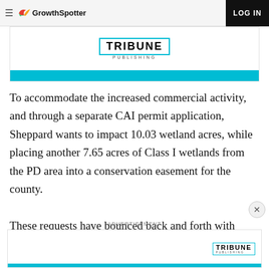GrowthSpotter — LOG IN
[Figure (logo): Tribune Publishing advertisement banner with cyan bar at bottom]
To accommodate the increased commercial activity, and through a separate CAI permit application, Sheppard wants to impact 10.03 wetland acres, while placing another 7.65 acres of Class I wetlands from the PD area into a conservation easement for the county.
These requests have bounced back and forth with
ADVERTISEMENT
[Figure (logo): Tribune Publishing advertisement banner at bottom of page]